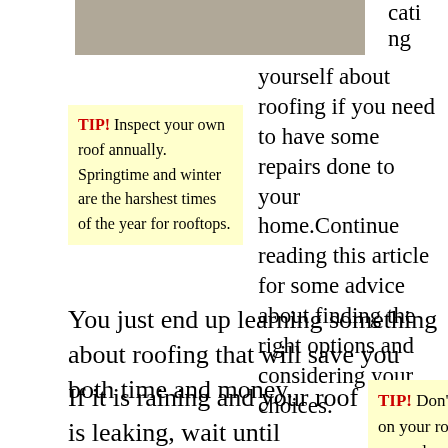[Figure (photo): Partial view of a rooftop photo, cropped at top]
cati ng
TIP! Inspect your own roof annually. Springtime and winter are the harshest times of the year for rooftops.
yourself about roofing if you need to have some repairs done to your home.Continue reading this article for some advice about finding the right options and considering your choices.
You just end up learning something about roofing that will save you both time and money.
If it is raining and your roof is leaking, wait until everything is dry before heading up to your roof. You
TIP! Don't set step on your roof without properly securing